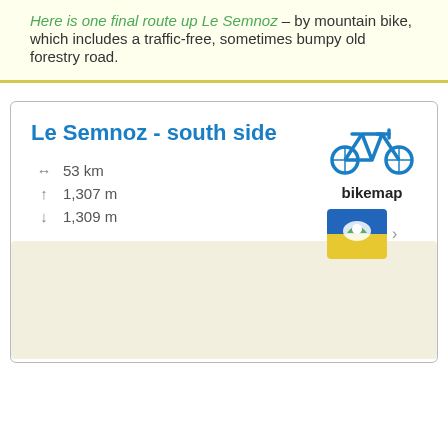Here is one final route up Le Semnoz – by mountain bike, which includes a traffic-free, sometimes bumpy old forestry road.
Le Semnoz - south side
[Figure (illustration): Blue bicycle icon above the label 'bikemap', with a small thumbnail map image below]
53 km
1,307 m
1,309 m